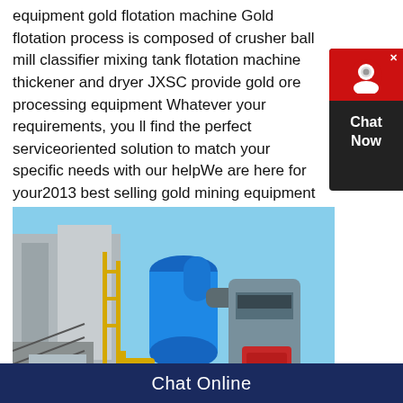equipment gold flotation machine Gold flotation process is composed of crusher ball mill classifier mixing tank flotation machine thickener and dryer JXSC provide gold ore processing equipment Whatever your requirements, you ll find the perfect serviceoriented solution to match your specific needs with our helpWe are here for your2013 best selling gold mining equipment gold flotation machine
[Figure (photo): Industrial gold flotation/milling equipment facility showing large blue cylindrical machinery, grey industrial grinder/mill, red motor, yellow piping scaffolding, concrete structure, outdoor industrial plant setting.]
Chat Online